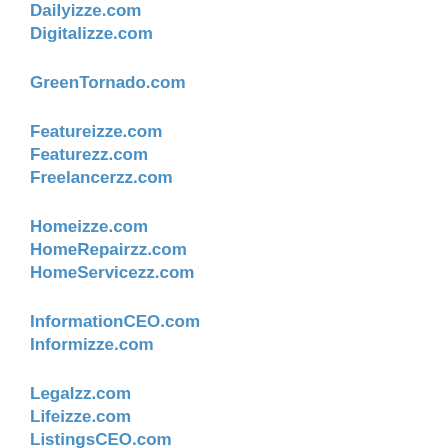Dailyizze.com
Digitalizze.com
GreenTornado.com
Featureizze.com
Featurezz.com
Freelancerzz.com
Homeizze.com
HomeRepairzz.com
HomeServicezz.com
InformationCEO.com
Informizze.com
Legalzz.com
Lifeizze.com
ListingsCEO.com